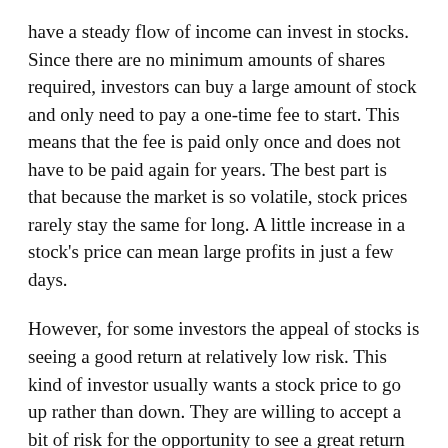have a steady flow of income can invest in stocks. Since there are no minimum amounts of shares required, investors can buy a large amount of stock and only need to pay a one-time fee to start. This means that the fee is paid only once and does not have to be paid again for years. The best part is that because the market is so volatile, stock prices rarely stay the same for long. A little increase in a stock's price can mean large profits in just a few days.
However, for some investors the appeal of stocks is seeing a good return at relatively low risk. This kind of investor usually wants a stock price to go up rather than down. They are willing to accept a bit of risk for the opportunity to see a great return over a period of time. If a stock price goes down on many occasions it is very unlikely that a person will lose all of their money.
Some investors also like to trade stocks based on the news. If a company releases positive earnings reports it is often